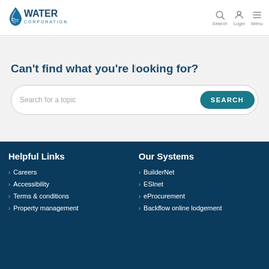[Figure (logo): Water Corporation logo with blue droplet icon and text WATER CORPORATION]
Search  Login  Menu
Can't find what you're looking for?
Search for a topic [SEARCH button]
Helpful Links
Careers
Accessibility
Terms & conditions
Property management
Our Systems
BuilderNet
ESInet
eProcurement
Backflow online lodgement